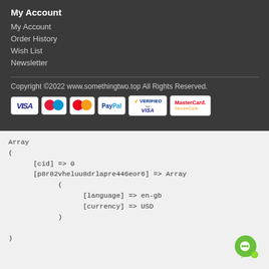My Account
My Account
Order History
Wish List
Newsletter
Copyright ©2022 www.somethingtwo.top All Rights Reserved.
[Figure (logo): Payment method icons: VISA, Maestro, Mastercard, PayPal, Verified by VISA, MasterCard SecureCode]
Array
(
    [cid] => 0
    [p8r82vheluu8drlapre446eor6] => Array
        (
            [language] => en-gb
            [currency] => USD
        )

)